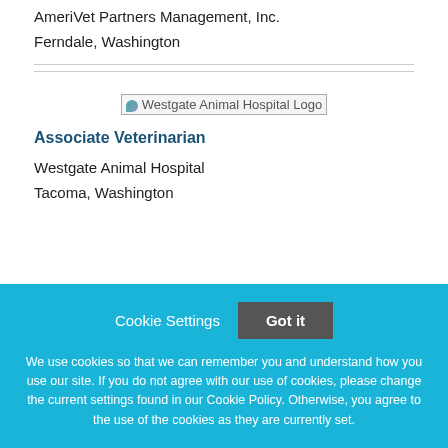AmeriVet Partners Management, Inc.
Ferndale, Washington
[Figure (logo): Westgate Animal Hospital Logo]
Associate Veterinarian
Westgate Animal Hospital
Tacoma, Washington
Cookie Settings   Got it
We use cookies so that we can remember you and understand how you use our site. If you do not agree with our use of cookies, please change the current settings found in our Cookie Policy. Otherwise, you agree to the use of the cookies as they are currently set.